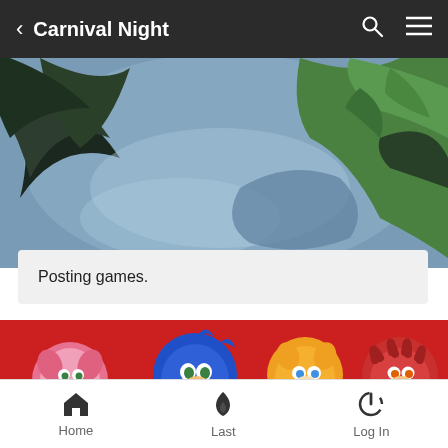< Carnival Night
[Figure (illustration): Dark forest/jungle scene with large green and dark leaf shapes against a blue-grey background, style suggests a video game environment.]
Posting games.
[Figure (illustration): Sonic the Hedgehog characters lineup on red background: Amy (pink), Sonic (blue), Tails (orange/yellow), Knuckles (red). Text overlay: Page 2 of 6.]
Page 2 of 6
Announcement & Sticky
Home  Last  Log In